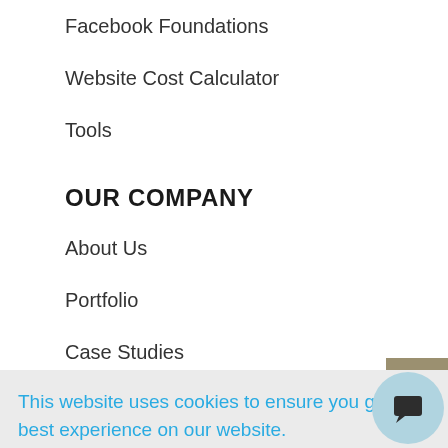Facebook Foundations
Website Cost Calculator
Tools
OUR COMPANY
About Us
Portfolio
Case Studies
This website uses cookies to ensure you get the best experience on our website. Learn more
Got it!